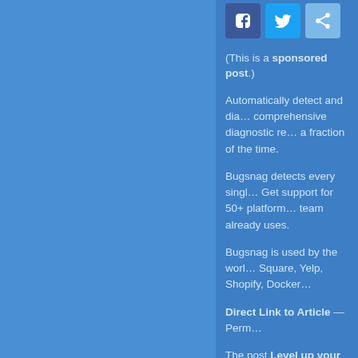[Figure (other): Social share buttons: Facebook, Twitter, Share icons in circles at the top]
(This is a sponsored post.)
Automatically detect and dia… comprehensive diagnostic re… a fraction of the time.
Bugsnag detects every singl… Get support for 50+ platform… team already uses.
Bugsnag is used by the worl… Square, Yelp, Shopify, Docker…
Direct Link to Article — Perm…
The post Level up your JavaS…
CSS-Tricks
[Figure (other): Social share buttons: Facebook, Twitter, Share icons in circles at the bottom]